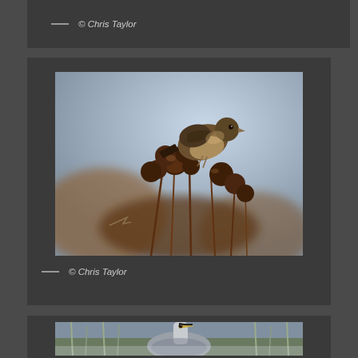— © Chris Taylor
[Figure (photo): A small bird perched on dried thistle seed heads, photographed against a blurred blue-grey and brown background. The bird appears to be a finch or similar species feeding on the seed heads.]
— © Chris Taylor
[Figure (photo): A grey heron standing among reeds or similar vegetation, partially cropped at the bottom of the page.]